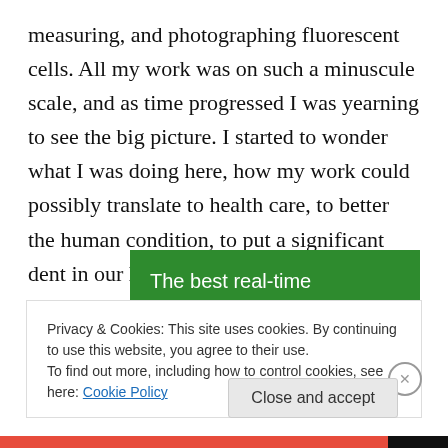measuring, and photographing fluorescent cells. All my work was on such a minuscule scale, and as time progressed I was yearning to see the big picture. I started to wonder what I was doing here, how my work could possibly translate to health care, to better the human condition, to put a significant dent in our lack of knowledge.
[Figure (screenshot): Green advertisement banner for WordPress backup plugin showing bold white text: 'The best real-time WordPress backup plugin']
Privacy & Cookies: This site uses cookies. By continuing to use this website, you agree to their use.
To find out more, including how to control cookies, see here: Cookie Policy
Close and accept